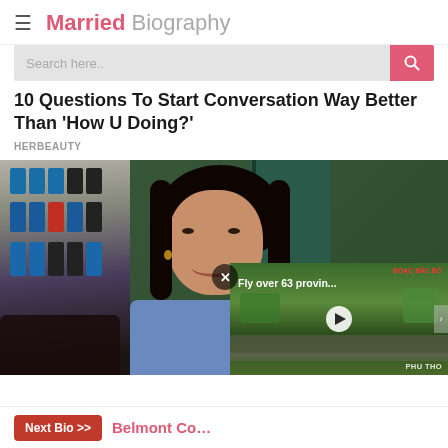Married Biography
Search here..
10 Questions To Start Conversation Way Better Than 'How U Doing?'
HERBEAUTY
[Figure (photo): Young woman with long dark hair smiling, seated in front of shelves with containers, wearing a blue top. An overlaid video thumbnail shows aerial footage of Vietnamese city with text 'Fly over 63 provin...' and watermark 'PHU THO'. A close button (X) is visible.]
Next Bio >>  Belmont Co...